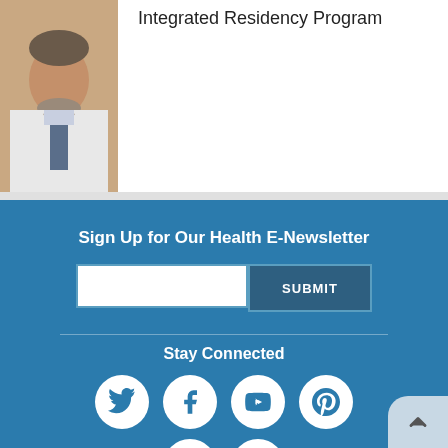[Figure (photo): Portrait photo of a doctor in white coat]
Integrated Residency Program
Sign Up for Our Health E-Newsletter
Stay Connected
[Figure (infographic): Social media icons: Twitter, Facebook, YouTube, Pinterest, LinkedIn, Instagram]